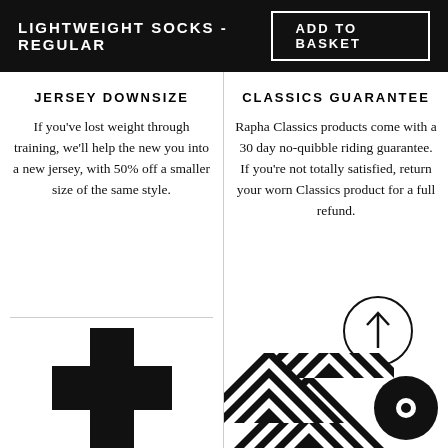LIGHTWEIGHT SOCKS - REGULAR
ADD TO BASKET
JERSEY DOWNSIZE
If you've lost weight through training, we'll help the new you into a new jersey, with 50% off a smaller size of the same style.
CLASSICS GUARANTEE
Rapha Classics products come with a 30 day no-quibble riding guarantee. If you're not totally satisfied, return your worn Classics product for a full refund.
[Figure (illustration): Black cross/plus icon at bottom of left column]
[Figure (illustration): Circle with upward arrow icon and chevron/chat icon at bottom of right column]